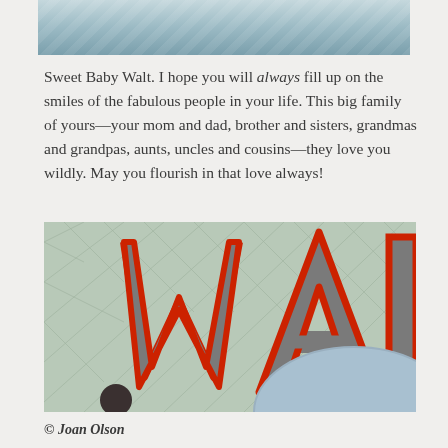[Figure (photo): Close-up photo of fabric/textile with blue-gray tone, partially cropped at top of page]
Sweet Baby Walt. I hope you will always fill up on the smiles of the fabulous people in your life. This big family of yours—your mom and dad, brother and sisters, grandmas and grandpas, aunts, uncles and cousins—they love you wildly. May you flourish in that love always!
[Figure (photo): Close-up photo of a quilt or fabric item with large gray letters outlined in red spelling 'WALT' (partially visible as 'ALT'), on a light green/mint textured quilted background]
© Joan Olson